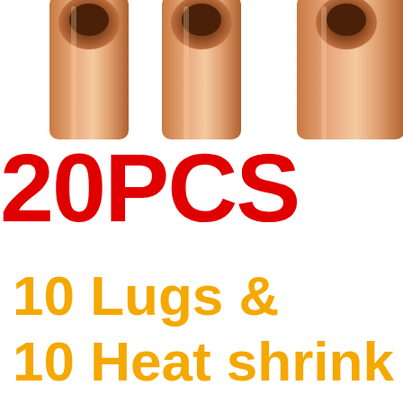[Figure (photo): Three copper wire lugs/terminals shown from above on a white background, partially cropped at top]
20PCS
10 Lugs &
10 Heat shrink